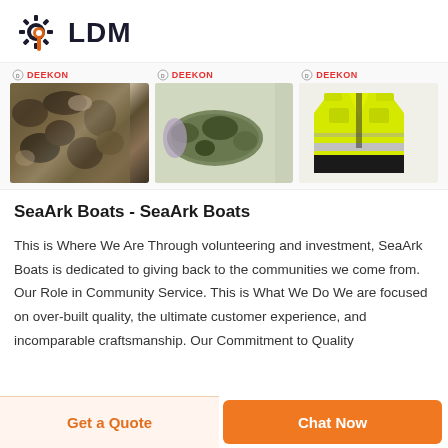[Figure (logo): LDM logo with gear icon in dark and orange colors and bold text LDM]
[Figure (photo): Three product images from DEEKON brand: camouflage fabric, camouflage sleeping bag, and yellow high-visibility safety vest]
SeaArk Boats - SeaArk Boats
This is Where We Are Through volunteering and investment, SeaArk Boats is dedicated to giving back to the communities we come from. Our Role in Community Service. This is What We Do We are focused on over-built quality, the ultimate customer experience, and incomparable craftsmanship. Our Commitment to Quality
Get a Quote
Chat Now